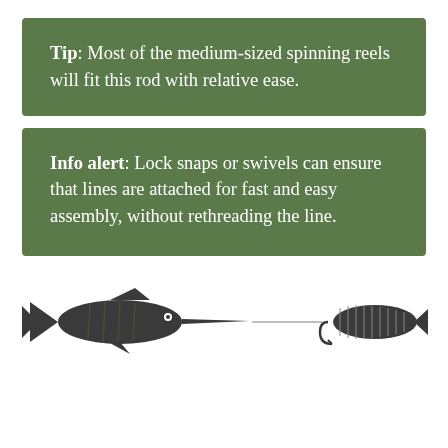Tip: Most of the medium-sized spinning reels will fit this rod with relative ease.
Info alert: Lock snaps or swivels can ensure that lines are attached for fast and easy assembly, without rethreading the line.
[Figure (illustration): A swordfish illustration on the left connected by a horizontal line to a fishing lure illustration on the right, both in dark grey silhouette style.]